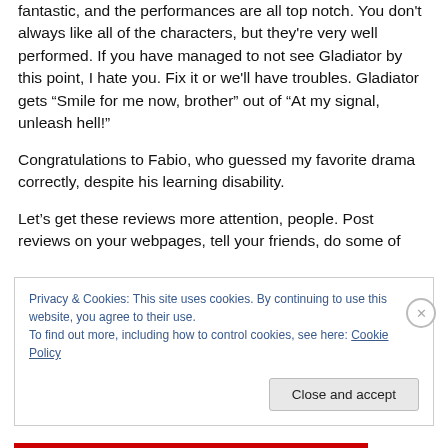fantastic, and the performances are all top notch.  You don't always like all of the characters, but they're very well performed.  If you have managed to not see Gladiator by this point, I hate you.  Fix it or we'll have troubles.  Gladiator gets “Smile for me now, brother” out of “At my signal, unleash hell!”
Congratulations to Fabio, who guessed my favorite drama correctly, despite his learning disability.
Let’s get these reviews more attention, people.  Post reviews on your webpages, tell your friends, do some of
Privacy & Cookies: This site uses cookies. By continuing to use this website, you agree to their use.
To find out more, including how to control cookies, see here: Cookie Policy